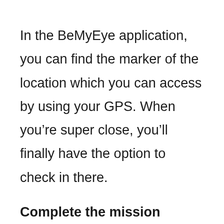In the BeMyEye application, you can find the marker of the location which you can access by using your GPS. When you're super close, you'll finally have the option to check in there.
Complete the mission
After going to the location now you have to complete your mission to get